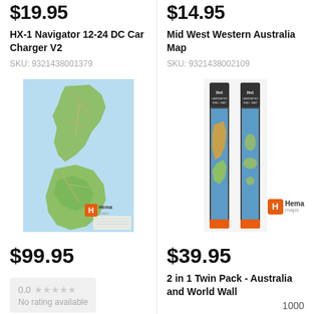$19.95
HX-1 Navigator 12-24 DC Car Charger V2
SKU: 9321438001379
$14.95
Mid West Western Australia Map
SKU: 9321438002109
[Figure (photo): New Zealand road map showing both North and South Islands with Hema Maps logo]
[Figure (photo): 2 in 1 Twin Pack tube map product with Hema Maps logo]
$99.95
$39.95
0.0 ★★★★★
No rating available
1000
2 in 1 Twin Pack - Australia and World Wall